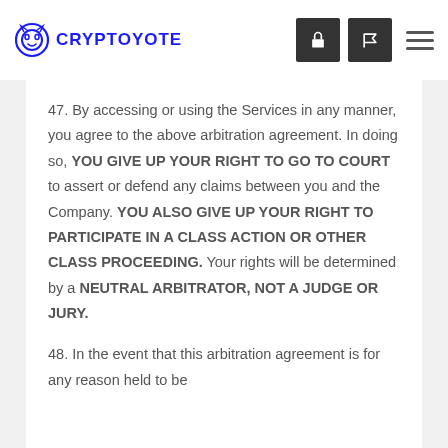CRYPTOYOTE
47. By accessing or using the Services in any manner, you agree to the above arbitration agreement. In doing so, YOU GIVE UP YOUR RIGHT TO GO TO COURT to assert or defend any claims between you and the Company. YOU ALSO GIVE UP YOUR RIGHT TO PARTICIPATE IN A CLASS ACTION OR OTHER CLASS PROCEEDING. Your rights will be determined by a NEUTRAL ARBITRATOR, NOT A JUDGE OR JURY.
48. In the event that this arbitration agreement is for any reason held to be